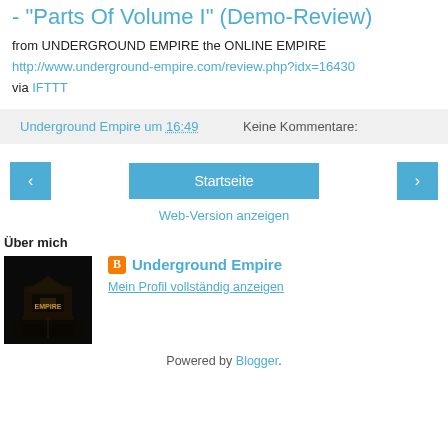- "Parts Of Volume I" (Demo-Review)
from UNDERGROUND EMPIRE the ONLINE EMPIRE
http://www.underground-empire.com/review.php?idx=16430
via IFTTT
Underground Empire um 16:49   Keine Kommentare:
‹   Startseite   ›
Web-Version anzeigen
Über mich
[Figure (photo): Profile photo showing a building with illuminated sign at night]
Underground Empire
Mein Profil vollständig anzeigen
Powered by Blogger.